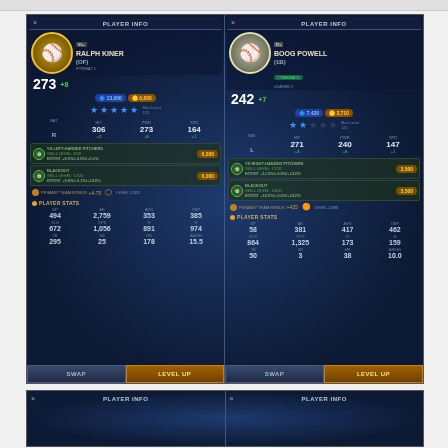[Figure (screenshot): Side-by-side player info screens from a baseball mobile game. Left panel: Ralph Kiner (OF), overall 273 +8, 5 stars, BAT R, HIT 306 (+3), PWR 273 (+8), SPD 164 (+1), currency 13,600 / 6,800, Skill Level 8/20 boost +8.0%/+9.0%/+9.5% cost 6,000, Skill Level 12/20 boost +9.0%/+9.1%/+13.0% cost 6,000, Player Stats: GP 494, AB 2759, AVG 353, OBP 385, SLG 672, OPS 1056, R 891, H 974, 2B 295, SB 25, HR 178, AB/HR 15.5. Right panel: Boog Powell (1B), overall 242 +7, Comeback badge, 2 stars, BAT L, HIT 271 (+3), PWR 240 (+8), SPD 147 (+1), currency 7,420 / 3,710, Skill Level 12/20 boost +12.0%/+9.0%/+13.0% cost 3,500, Skill Level 13/20 boost +13.0%/+9.0%/+13.0% cost 3,500, Player Stats: GP 58, AB 381, AVG 417, OBP 462, SLG 864, OPS 1325, R 173, H 159, 2B 50, SB 3, HR 38, AB/HR 10.0. Both panels have SWAP and LEVEL UP buttons.]
[Figure (screenshot): Partial view of another side-by-side player info screen from the same baseball mobile game, showing PLAYER INFO headers for two panels.]